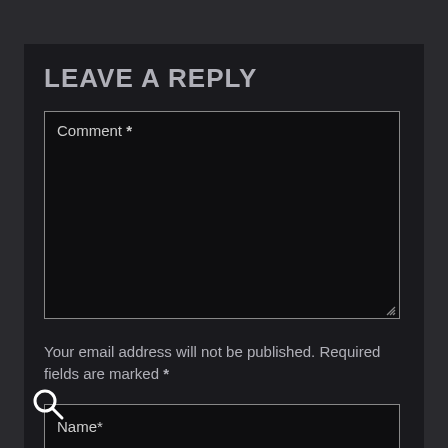LEAVE A REPLY
Comment *
Your email address will not be published. Required fields are marked *
Name*